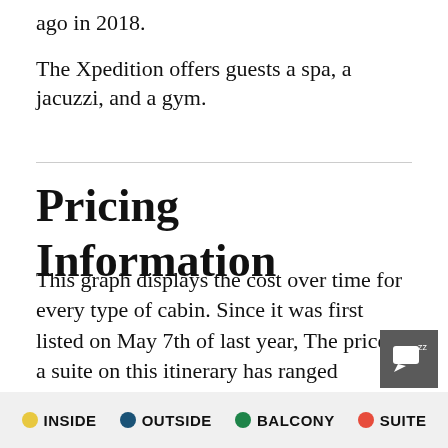ago in 2018.
The Xpedition offers guests a spa, a jacuzzi, and a gym.
Pricing Information
This graph displays the cost over time for every type of cabin. Since it was first listed on May 7th of last year, The price of a suite on this itinerary has ranged between $6,519 and $10,718 including $120 in taxes and port
[Figure (other): Legend bar showing four cabin types: INSIDE (yellow dot), OUTSIDE (dark blue dot), BALCONY (green dot), SUITE (red dot)]